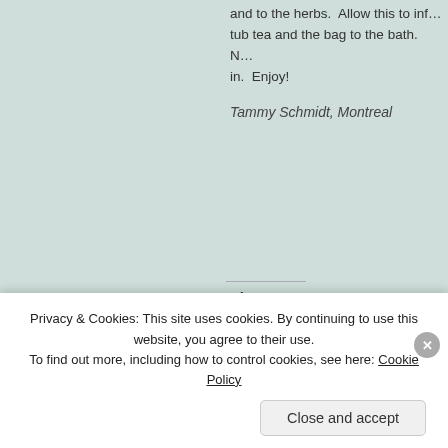and to the herbs. Allow this to inf... tub tea and the bag to the bath. N... in. Enjoy!
Tammy Schmidt, Montreal
Share:
[Figure (screenshot): Share buttons: Facebook, Twitter, Re... (Reddit, cut off), Email, Print]
Loading...
Tags
Avena sativa, calendula, cosmetics, Do... Da...
Privacy & Cookies: This site uses cookies. By continuing to use this website, you agree to their use. To find out more, including how to control cookies, see here: Cookie Policy
Close and accept